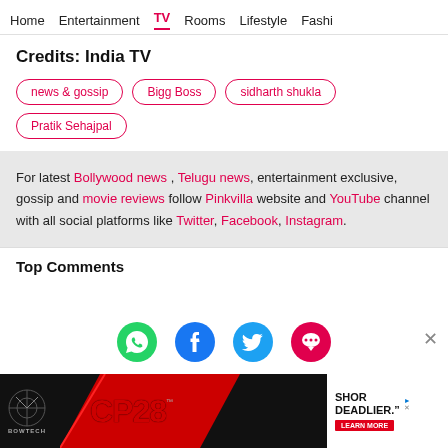Home  Entertainment  TV  Rooms  Lifestyle  Fashion
Credits: India TV
news & gossip
Bigg Boss
sidharth shukla
Pratik Sehajpal
For latest Bollywood news , Telugu news, entertainment exclusive, gossip and movie reviews follow Pinkvilla website and YouTube channel with all social platforms like Twitter, Facebook, Instagram.
Top Comments
[Figure (infographic): Social sharing icons: WhatsApp (green), Facebook (blue), Twitter (light blue), Chat/Comments (pink)]
[Figure (infographic): Ad banner for Bowtech CP28 crossbow: black background with red CP28 logo, BOWTECH text, and a side panel showing SHOR DEADLIER with LEARN MORE button]